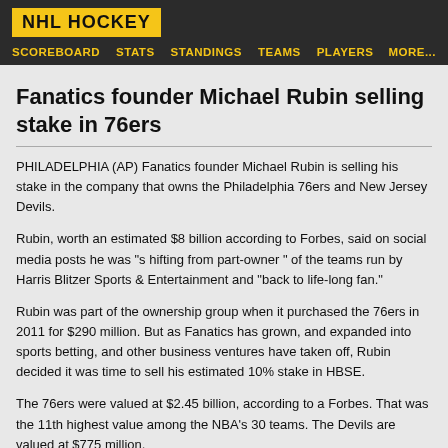NHL HOCKEY
SCOREBOARD  STATS  STANDINGS  TEAMS  PLAYERS  MORE....
Fanatics founder Michael Rubin selling stake in 76ers
PHILADELPHIA (AP) Fanatics founder Michael Rubin is selling his stake in the company that owns the Philadelphia 76ers and New Jersey Devils.
Rubin, worth an estimated $8 billion according to Forbes, said on social media posts he was "s hifting from part-owner " of the teams run by Harris Blitzer Sports & Entertainment and "back to life-long fan."
Rubin was part of the ownership group when it purchased the 76ers in 2011 for $290 million. But as Fanatics has grown, and expanded into sports betting, and other business ventures have taken off, Rubin decided it was time to sell his estimated 10% stake in HBSE.
The 76ers were valued at $2.45 billion, according to a Forbes. That was the 11th highest value among the NBA's 30 teams. The Devils are valued at $775 million, 47th in the 50 team NHL...